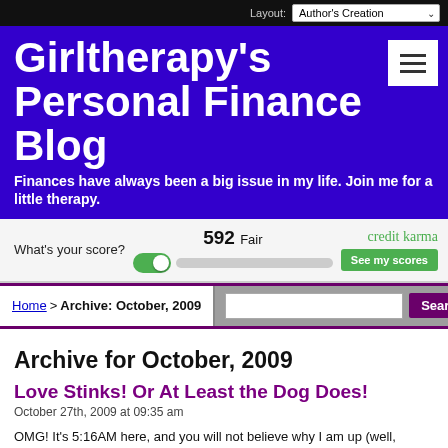Layout: Author's Creation
Girltherapy's Personal Finance Blog
Finances have always been a big issue in my life. Join me for a little therapy.
[Figure (screenshot): Credit Karma advertisement banner showing a credit score of 592 Fair with a toggle slider, credit karma branding in green, and a 'See my scores' green button. Left side reads 'What's your score?']
Home > Archive: October, 2009
Archive for October, 2009
Love Stinks! Or At Least the Dog Does!
October 27th, 2009 at 09:35 am
OMG! It's 5:16AM here, and you will not believe why I am up (well, maybe you would). I have tonight off, so I am lying in bed, trying to sleep, and the dog is downstairs pacing back and forth thru the house. I thought she had to go out, although she usually whines just to get her point across. So